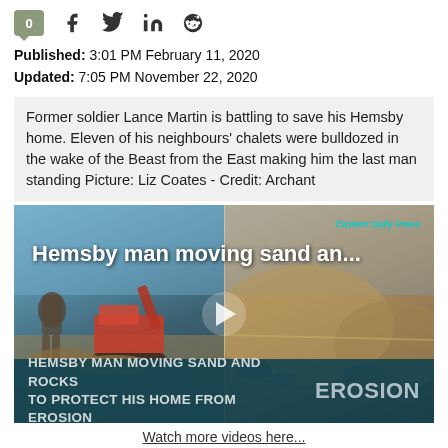[Figure (screenshot): Social media sharing bar with comment count bubble showing 0, and icons for Facebook, Twitter, LinkedIn, and Reddit]
Published: 3:01 PM February 11, 2020
Updated: 7:05 PM November 22, 2020
Former soldier Lance Martin is battling to save his Hemsby home. Eleven of his neighbours' chalets were bulldozed in the wake of the Beast from the East making him the last man standing Picture: Liz Coates - Credit: Archant
[Figure (screenshot): Video thumbnail showing split screen: left side has man in military jacket with red excavator on sandy beach, right side shows sandy dunes and coastline erosion. Overlay text reads 'Hemsby man moving sand an...' with Eastern Daily Press branding. Bottom bar reads 'HEMSBY MAN MOVING SAND AND ROCKS TO PROTECT HIS HOME FROM EROSION' with 'EROSION' label on right.]
Watch more videos here...